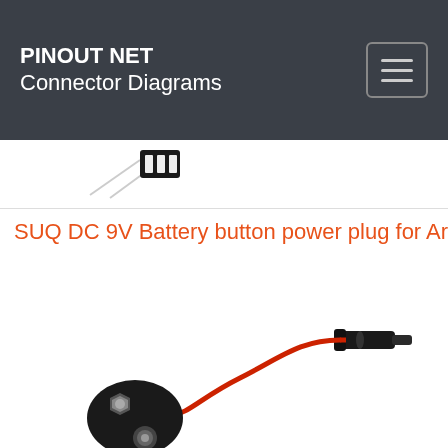PINOUT NET Connector Diagrams
[Figure (photo): Partial view of a connector or component on white background, cropped at top]
SUQ DC 9V Battery button power plug for Arduino Meg
[Figure (photo): DC 9V battery snap connector with red wire leading to a DC barrel plug jack]